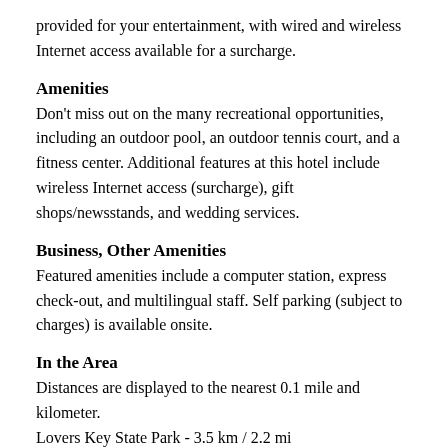provided for your entertainment, with wired and wireless Internet access available for a surcharge.
Amenities
Don't miss out on the many recreational opportunities, including an outdoor pool, an outdoor tennis court, and a fitness center. Additional features at this hotel include wireless Internet access (surcharge), gift shops/newsstands, and wedding services.
Business, Other Amenities
Featured amenities include a computer station, express check-out, and multilingual staff. Self parking (subject to charges) is available onsite.
In the Area
Distances are displayed to the nearest 0.1 mile and kilometer.
Lovers Key State Park - 3.5 km / 2.2 mi
Mound House - 4.4 km / 2.8 mi